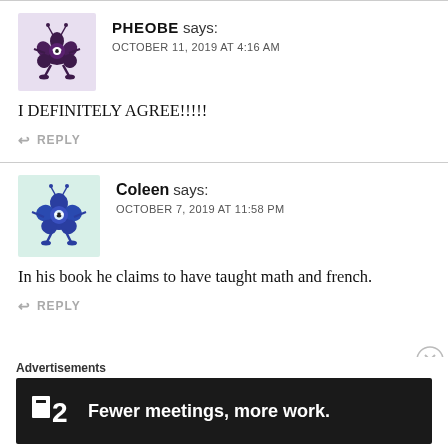[Figure (illustration): Avatar icon of PHEOBE: a cartoon purple/dark character with star shape and legs on a light purple background]
PHEOBE says:
OCTOBER 11, 2019 AT 4:16 AM
I DEFINITELY AGREE!!!!!
↩ REPLY
[Figure (illustration): Avatar icon of Coleen: a cartoon blue character on a light green/teal background]
Coleen says:
OCTOBER 7, 2019 AT 11:58 PM
In his book he claims to have taught math and french.
↩ REPLY
Advertisements
[Figure (screenshot): Advertisement banner: dark background with logo square and text 'Fewer meetings, more work.']